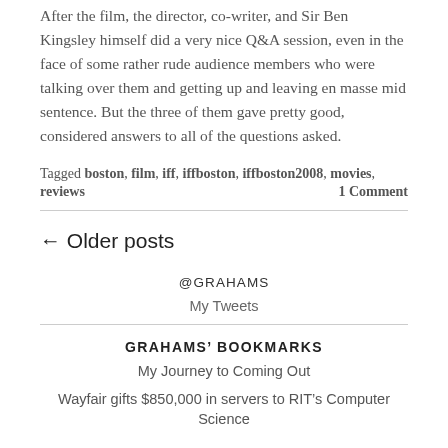After the film, the director, co-writer, and Sir Ben Kingsley himself did a very nice Q&A session, even in the face of some rather rude audience members who were talking over them and getting up and leaving en masse mid sentence. But the three of them gave pretty good, considered answers to all of the questions asked.
Tagged boston, film, iff, iffboston, iffboston2008, movies, reviews	1 Comment
← Older posts
@GRAHAMS
My Tweets
GRAHAMS' BOOKMARKS
My Journey to Coming Out
Wayfair gifts $850,000 in servers to RIT's Computer Science